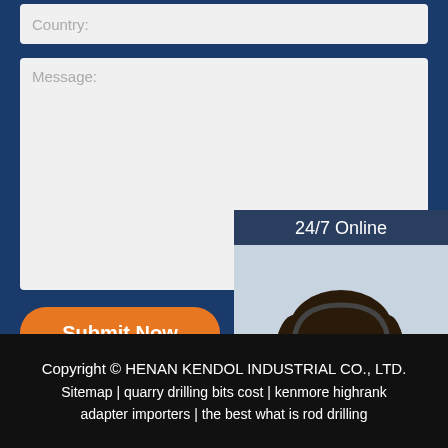Country:
Message:
Submit Now
[Figure (photo): 24/7 Online chat widget with a female customer service agent wearing a headset, smiling. Includes 'Click here for free chat!' text and an orange QUOTATION button.]
Copyright © HENAN KENDOL INDUSTRIAL CO., LTD. Sitemap | quarry drilling bits cost | kenmore highrank adapter importers | the best what is rod drilling